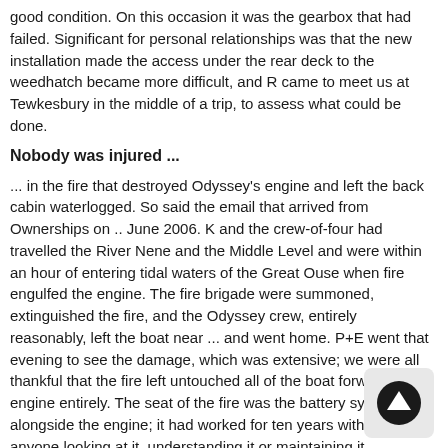good condition. On this occasion it was the gearbox that had failed. Significant for personal relationships was that the new installation made the access under the rear deck to the weedhatch became more difficult, and R came to meet us at Tewkesbury in the middle of a trip, to assess what could be done.
Nobody was injured ...
... in the fire that destroyed Odyssey's engine and left the back cabin waterlogged. So said the email that arrived from Ownerships on .. June 2006. K and the crew-of-four had travelled the River Nene and the Middle Level and were within an hour of entering tidal waters of the Great Ouse when fire engulfed the engine. The fire brigade were summoned, extinguished the fire, and the Odyssey crew, entirely reasonably, left the boat near ... and went home. P+E went that evening to see the damage, which was extensive; we were all thankful that the fire left untouched all of the boat forward of the engine entirely. The seat of the fire was the battery system alongside the engine; it had worked for ten years without anyone looking at it, understanding it or maintaining it.
It was a proper insurance claim, and there was significant danger